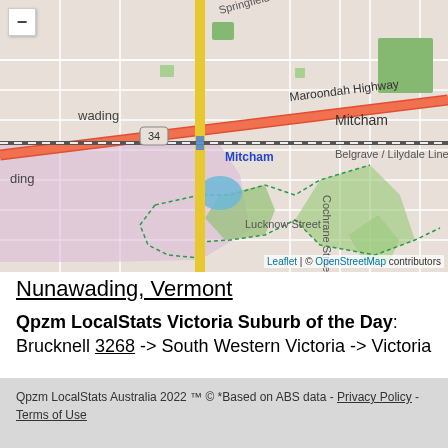[Figure (map): OpenStreetMap map centered on Nunawading/Mitcham area in Victoria, Australia. Shows Maroondah Highway (red/orange road), Mitcham station, Belgrave/Lilydale Line railway, Lucknow Street, Cochrane Street, and surrounding suburban streets. Green parks visible, light purple shaded region in lower left area. Map credit: Leaflet | © OpenStreetMap contributors.]
Nunawading, Vermont
Qpzm LocalStats Victoria Suburb of the Day: Brucknell 3268 -> South Western Victoria -> Victoria
Qpzm LocalStats Australia 2022 ™ © *Based on ABS data - Privacy Policy - Terms of Use